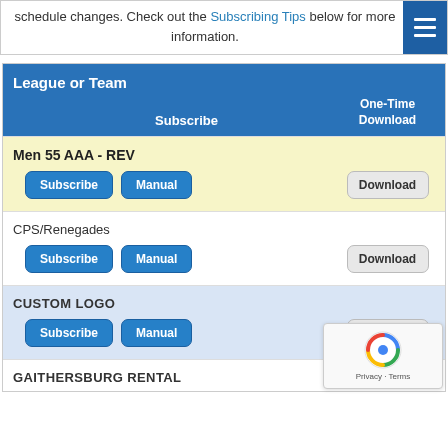schedule changes. Check out the Subscribing Tips below for more information.
| League or Team | Subscribe | One-Time Download |
| --- | --- | --- |
| Men 55 AAA - REV | Subscribe | Manual | Download |
| CPS/Renegades | Subscribe | Manual | Download |
| CUSTOM LOGO | Subscribe | Manual | Download |
| GAITHERSBURG RENTAL |  |  |